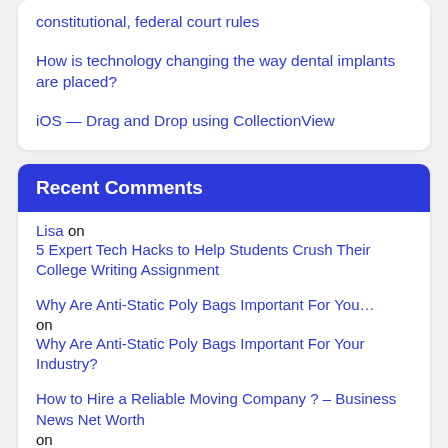constitutional, federal court rules
How is technology changing the way dental implants are placed?
iOS — Drag and Drop using CollectionView
Recent Comments
Lisa on 5 Expert Tech Hacks to Help Students Crush Their College Writing Assignment
Why Are Anti-Static Poly Bags Important For You... on Why Are Anti-Static Poly Bags Important For Your Industry?
How to Hire a Reliable Moving Company ? – Business News Net Worth on